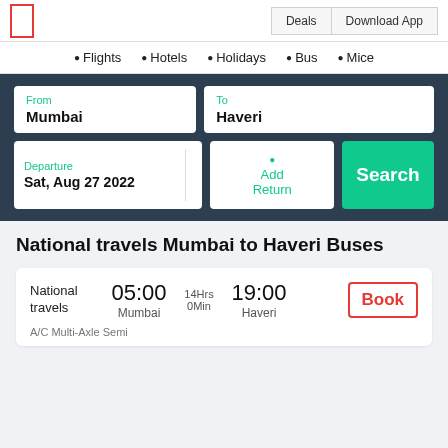[Figure (screenshot): Red outlined logo box in top left header]
Deals | Download App
Flights
Hotels
Holidays
Bus
Mice
From: Mumbai | To: Haveri | Departure: Sat, Aug 27 2022 | Add Return | Search
National travels Mumbai to Haveri Buses
| Operator | Departure | Duration | Arrival | Action |
| --- | --- | --- | --- | --- |
| National travels | 05:00
Mumbai | 14Hrs 0Min | 19:00
Haveri | Book |
| A/C Multi-Axle Semi |  |  |  |  |